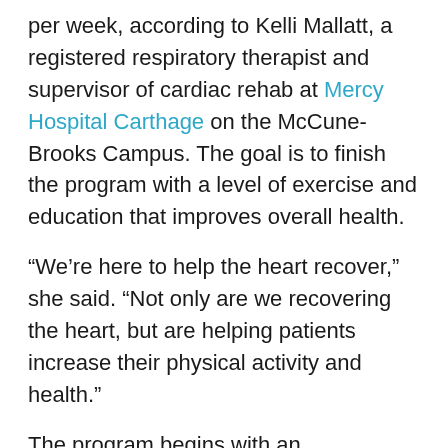per week, according to Kelli Mallatt, a registered respiratory therapist and supervisor of cardiac rehab at Mercy Hospital Carthage on the McCune-Brooks Campus. The goal is to finish the program with a level of exercise and education that improves overall health.
“We’re here to help the heart recover,” she said. “Not only are we recovering the heart, but are helping patients increase their physical activity and health.”
The program begins with an assessment and includes monitoring to ensure the heart is performing as expected.
“The first several sessions we get a feel for where patients are in their heart recovery,” Mallatt said. “We have some patients who’ve never exercised, We can teach them how to exercise correctly and increase their endurance and energy.”
Some patients are fearful that any physical activity